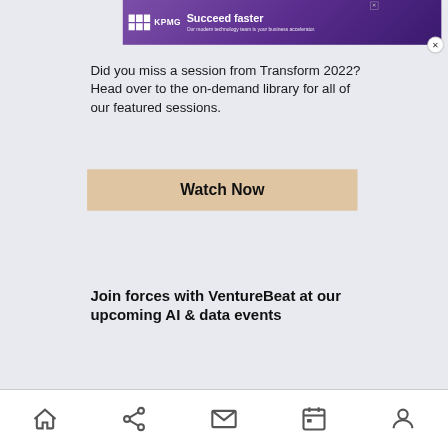[Figure (screenshot): KPMG advertisement banner with purple gradient background, KPMG logo (white grid), headline 'Succeed faster', subtext 'Our modern technology team is your business accelerator.' with close button]
Did you miss a session from Transform 2022? Head over to the on-demand library for all of our featured sessions.
Watch Now
Join forces with VentureBeat at our upcoming AI & data events
Navigation bar with home, share, mail, calendar, and user icons